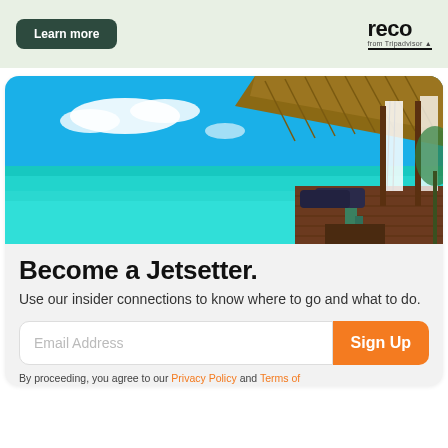[Figure (other): Advertisement banner with light green background containing a 'Learn more' dark green button on the left and the 'reco from Tripadvisor' logo on the right]
[Figure (photo): Tropical overwater bungalow with thatched roof and white curtains, turquoise sea in background, bright blue sky with clouds]
Become a Jetsetter.
Use our insider connections to know where to go and what to do.
Email Address  Sign Up
By proceeding, you agree to our Privacy Policy and Terms of